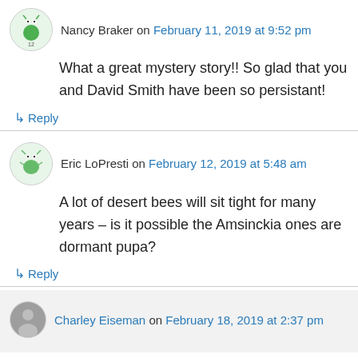Nancy Braker on February 11, 2019 at 9:52 pm
What a great mystery story!! So glad that you and David Smith have been so persistant!
↳ Reply
Eric LoPresti on February 12, 2019 at 5:48 am
A lot of desert bees will sit tight for many years – is it possible the Amsinckia ones are dormant pupa?
↳ Reply
Charley Eiseman on February 18, 2019 at 2:37 pm